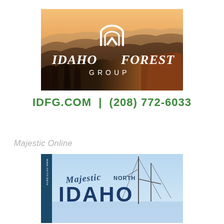[Figure (logo): Idaho Forest Group logo over mountain landscape photo with orange/brown hazy mountain ridges and forest silhouette]
IDFG.COM  |  (208) 772-6033
Majestic Online
[Figure (photo): Majestic North Idaho magazine/publication cover with sailboat mast, blue sky, and large text reading Majestic NORTH IDAHO with website www.northidaho... visible on spine]